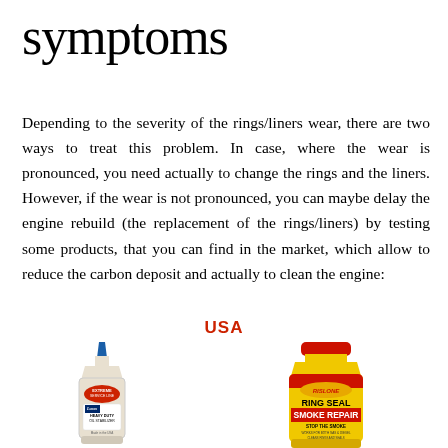symptoms
Depending to the severity of the rings/liners wear, there are two ways to treat this problem. In case, where the wear is pronounced, you need actually to change the rings and the liners. However, if the wear is not pronounced, you can maybe delay the engine rebuild (the replacement of the rings/liners) by testing some products, that you can find in the market, which allow to reduce the carbon deposit and actually to clean the engine:
USA
[Figure (photo): Two engine treatment products shown side by side: Lucas Heavy Duty Oil Stabilizer (white squeeze bottle with blue tip) on the left, and Rislone Ring Seal Smoke Repair (yellow bottle with red cap) on the right.]